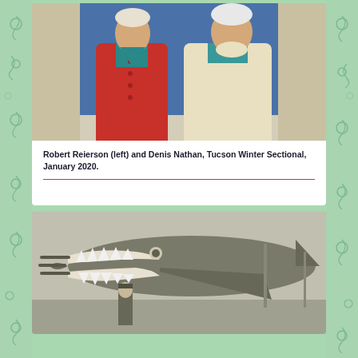[Figure (photo): Two elderly people standing together in front of a blue background. The person on the left wears a red cardigan over a teal shirt. The person on the right wears a cream/yellow sweater over a teal collar.]
Robert Reierson (left) and Denis Nathan, Tucson Winter Sectional, January 2020.
[Figure (photo): Vintage black-and-white photograph of a WWII-era military aircraft (bomber) with a shark mouth nose art painted on the fuselage. A person in military uniform stands in front of the nose. The text 'SCREAMS' is partially visible on the fuselage.]